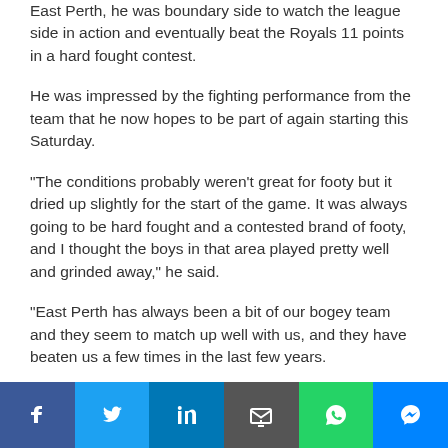After Mali successfully returned in the reserves on Sunday against East Perth, he was boundary side to watch the league side in action and eventually beat the Royals 11 points in a hard fought contest.
He was impressed by the fighting performance from the team that he now hopes to be part of again starting this Saturday.
"The conditions probably weren't great for footy but it dried up slightly for the start of the game. It was always going to be hard fought and a contested brand of footy, and I thought the boys in that area played pretty well and grinded away," he said.
"East Perth has always been a bit of our bogey team and they seem to match up well with us, and they have beaten us a few times in the last few years.
"It was always going to be a tight contest but I thought the boys stood up well and even when East Perth were coming at the end there we still held up and managed to get away with the four wins. I was super proud of what the boys did."
[Figure (infographic): Social media sharing bar with buttons for Facebook, Twitter, LinkedIn, Email, WhatsApp, and Messenger]